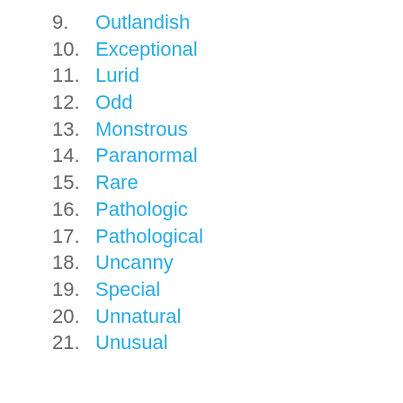9. Outlandish
10. Exceptional
11. Lurid
12. Odd
13. Monstrous
14. Paranormal
15. Rare
16. Pathologic
17. Pathological
18. Uncanny
19. Special
20. Unnatural
21. Unusual